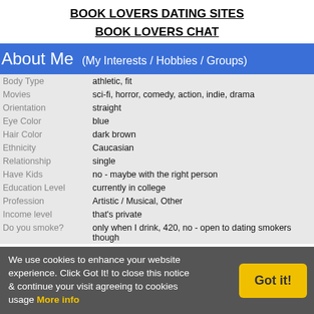BOOK LOVERS DATING SITES
BOOK LOVERS CHAT
About Me  (My Interests / Hobbies / Groups)
| Field | Value |
| --- | --- |
| Body Type | athletic, fit |
| Movies | sci-fi, horror, comedy, action, indie, drama |
| Orientation | straight |
| Eye Color | blue |
| Hair Color | dark brown |
| Ethnicity | Caucasian |
| Relationship | single |
| Have Kids | no - maybe with the right person |
| Education Level | currently in college |
| Profession | Artistic / Musical, Other |
| Income level | that's private |
| Do you smoke? | only when I drink, 420, no - open to dating smokers though |
We use cookies to enhance your website experience. Click Got It! to close this notice & continue your visit agreeing to cookies usage More info